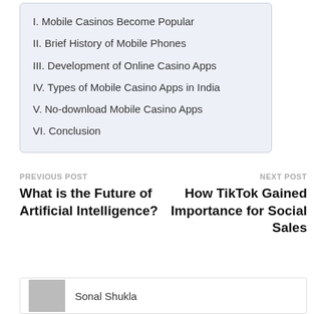I. Mobile Casinos Become Popular
II. Brief History of Mobile Phones
III. Development of Online Casino Apps
IV. Types of Mobile Casino Apps in India
V. No-download Mobile Casino Apps
VI. Conclusion
PREVIOUS POST
What is the Future of Artificial Intelligence?
NEXT POST
How TikTok Gained Importance for Social Sales
Sonal Shukla